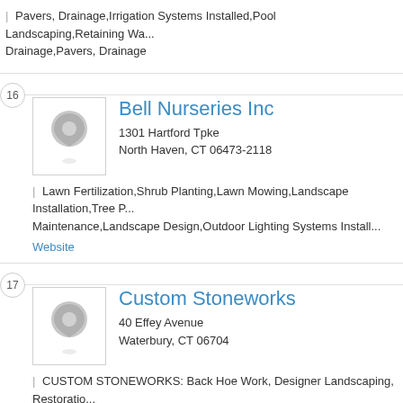| Pavers, Drainage,Irrigation Systems Installed,Pool Landscaping,Retaining Wa... Drainage,Pavers, Drainage
16
Bell Nurseries Inc
1301 Hartford Tpke
North Haven, CT 06473-2118
| Lawn Fertilization,Shrub Planting,Lawn Mowing,Landscape Installation,Tree P... Maintenance,Landscape Design,Outdoor Lighting Systems Install...
Website
17
Custom Stoneworks
40 Effey Avenue
Waterbury, CT 06704
| CUSTOM STONEWORKS: Back Hoe Work, Designer Landscaping, Restoratio... WALKWAYS & PATIOS & PORCHES: Pavers, Brick, Custom ...